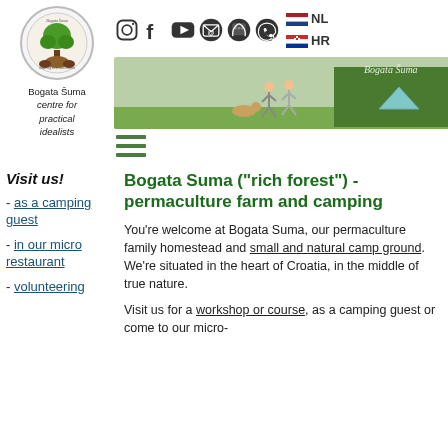[Figure (logo): Bogata Šuma circular logo with tree]
Bogata Šuma centre for practical idealists
[Figure (infographic): Row of social media icons: Instagram, Facebook, YouTube, Email, Phone, WhatsApp; plus NL and HR language flags]
[Figure (photo): Hero banner photo of people running in a green field with a tent, watermark Bogata Šuma]
[Figure (other): Hamburger menu icon (three horizontal lines)]
Visit us!
- as a camping guest
- in our micro restaurant
- volunteering
Bogata Suma ("rich forest") - permaculture farm and camping
You're welcome at Bogata Suma, our permaculture family homestead and small and natural camp ground. We're situated in the heart of Croatia, in the middle of true nature.
Visit us for a workshop or course, as a camping guest or come to our micro-